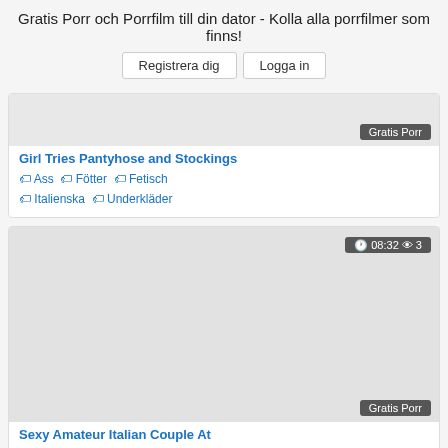Gratis Porr och Porrfilm till din dator - Kolla alla porrfilmer som finns!
Registrera dig  Logga in
[Figure (screenshot): Video card with 'Gratis Porr' badge, title 'Girl Tries Pantyhose and Stockings', tags: Ass, Fötter, Fetisch, Italienska, Underkläder]
[Figure (screenshot): Video card with timestamp 08:32 and 3 views, 'Gratis Porr' badge, title 'Sexy Amateur Italian Couple At', tags: Amatör, Anal, Bbw, Blond, Avsugning, Chubby, Puma]
[Figure (screenshot): Partial video card with timestamp 11:19 and 0 views, thumbnail partially visible]